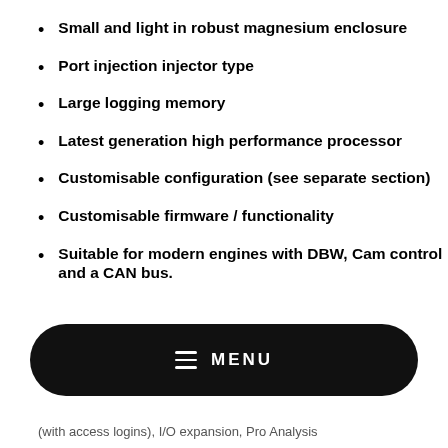Small and light in robust magnesium enclosure
Port injection injector type
Large logging memory
Latest generation high performance processor
Customisable configuration (see separate section)
Customisable firmware / functionality
Suitable for modern engines with DBW, Cam control and a CAN bus.
(with access logins), I/O expansion, Pro Analysis